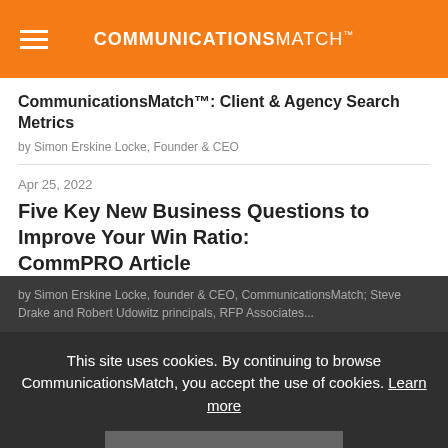COMMUNICATIONSMATCH™
CommunicationsMatch™: Client & Agency Search Metrics
by Simon Erskine Locke, Founder & CEO
Apr 25, 2022
Five Key New Business Questions to Improve Your Win Ratio: CommPRO Article
by Simon Erskine Locke, founder & CEO, CommunicationsMatch; Steve Drake and Robert Udowitz principals, RFP Associates...
This site uses cookies. By continuing to browse CommunicationsMatch, you accept the use of cookies. Learn more
ACCEPT
Apr 18, 2022
Inflation: Time to Incre...
by Simon Erskine Loc...